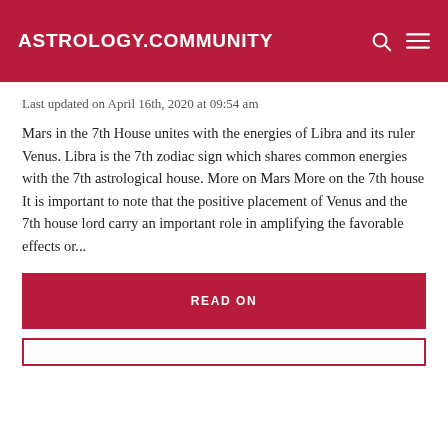ASTROLOGY.COMMUNITY
Last updated on April 16th, 2020 at 09:54 am
Mars in the 7th House unites with the energies of Libra and its ruler Venus. Libra is the 7th zodiac sign which shares common energies with the 7th astrological house. More on Mars More on the 7th house It is important to note that the positive placement of Venus and the 7th house lord carry an important role in amplifying the favorable effects or...
READ ON